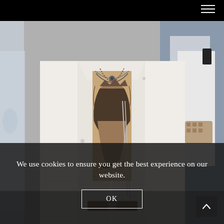[Figure (photo): Street style fashion photo showing a person wearing an open white jacket revealing chest tattoos. The person wears chains and necklaces. Partially visible is another person in white on the right holding a patterned bag. Dark background with crowd.]
We use cookies to ensure you get the best experience on our website.
OK